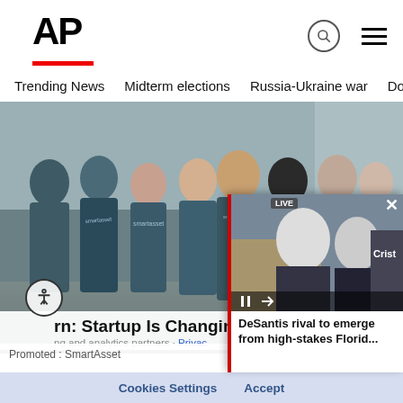AP
Trending News   Midterm elections   Russia-Ukraine war   Dona
[Figure (photo): Group of people wearing SmartAsset branded t-shirts standing on a city street]
Acorn: Startup Is Changing
Promoted : SmartAsset
Cookies Settings   Accept
[Figure (screenshot): Video popup overlay showing DeSantis rival news with red left border bar]
DeSantis rival to emerge from high-stakes Florid...